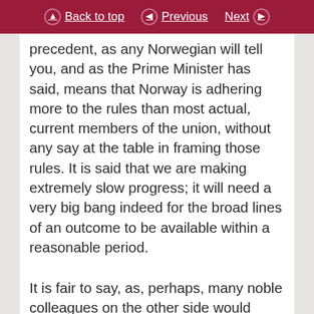Back to top  Previous  Next
precedent, as any Norwegian will tell you, and as the Prime Minister has said, means that Norway is adhering more to the rules than most actual, current members of the union, without any say at the table in framing those rules. It is said that we are making extremely slow progress; it will need a very big bang indeed for the broad lines of an outcome to be available within a reasonable period.
It is fair to say, as, perhaps, many noble colleagues on the other side would agree, that the Prime Minister has set out a perhaps realistic but rather minimalist agenda for what he hopes to achieve. The problem is this: the agenda of our partners in the European Union is very crowded indeed at the moment. We saw that at the last Council meeting